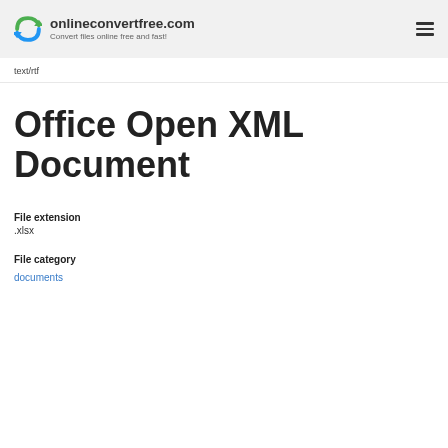onlineconvertfree.com — Convert files online free and fast!
text/rtf
Office Open XML Document
File extension
.xlsx
File category
documents